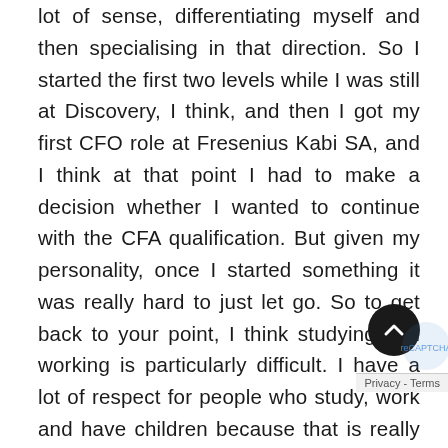lot of sense, differentiating myself and then specialising in that direction. So I started the first two levels while I was still at Discovery, I think, and then I got my first CFO role at Fresenius Kabi SA, and I think at that point I had to make a decision whether I wanted to continue with the CFA qualification. But given my personality, once I started something it was really hard to just let go. So to get back to your point, I think studying and working is particularly difficult. I have a lot of respect for people who study, work and have children because that is really a game changer. It was a really challenging part of my life to finish the course, but it was so stimulating and challenging that I just pursued it. At that